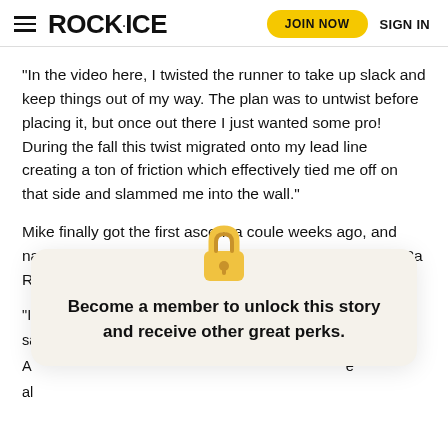ROCK·ICE — JOIN NOW   SIGN IN
“In the video here, I twisted the runner to take up slack and keep things out of my way. The plan was to untwist before placing it, but once out there I just wanted some pro! During the fall this twist migrated onto my lead line creating a ton of friction which effectively tied me off on that side and slammed me into the wall.”
Mike finally got the first ascent a coule weeks ago, and named it Beam Me Up Skippy! He gave it a grade of 5.12a R.
“It’s named for Scott Harris  …  entor, and friend.” Scott sa…
A… e al…
Become a member to unlock this story and receive other great perks.